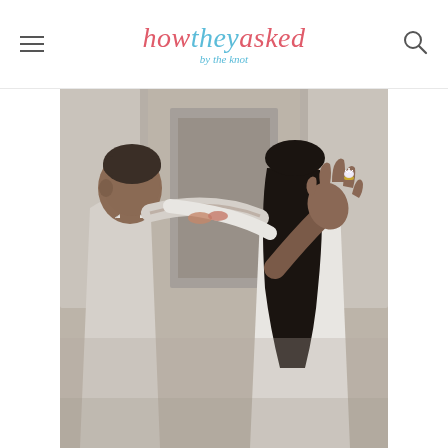how they asked by the knot
[Figure (photo): An engaged couple kissing outdoors near classical stone columns. The woman's left hand is raised toward the camera showing off her engagement ring. The man is in a light gray suit. The woman has long dark hair and is wearing white.]